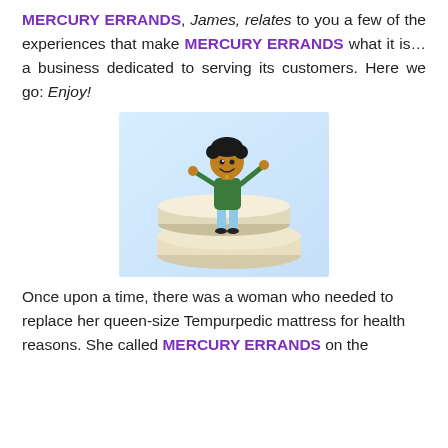MERCURY ERRANDS, James, relates to you a few of the experiences that make MERCURY ERRANDS what it is… a business dedicated to serving its customers. Here we go: Enjoy!
[Figure (illustration): Cartoon illustration of a happy person with arms raised standing on top of two stacked mattresses, against a light blue gradient background.]
Once upon a time, there was a woman who needed to replace her queen-size Tempurpedic mattress for health reasons. She called MERCURY ERRANDS on the